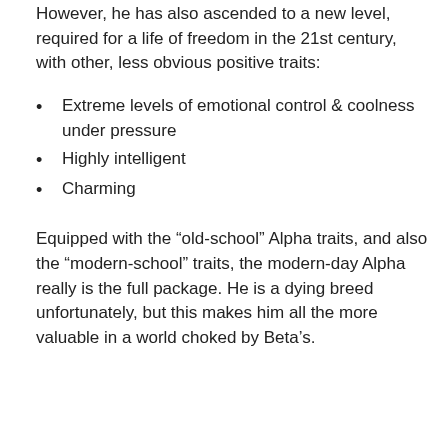However, he has also ascended to a new level, required for a life of freedom in the 21st century, with other, less obvious positive traits:
Extreme levels of emotional control & coolness under pressure
Highly intelligent
Charming
Equipped with the “old-school” Alpha traits, and also the “modern-school” traits, the modern-day Alpha really is the full package. He is a dying breed unfortunately, but this makes him all the more valuable in a world choked by Beta’s.